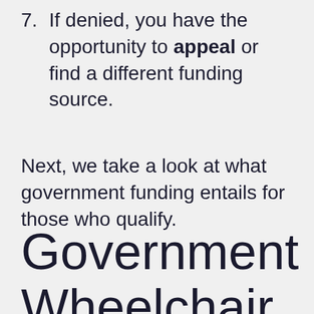7. If denied, you have the opportunity to appeal or find a different funding source.
Next, we take a look at what government funding entails for those who qualify.
Government Wheelchair Funding